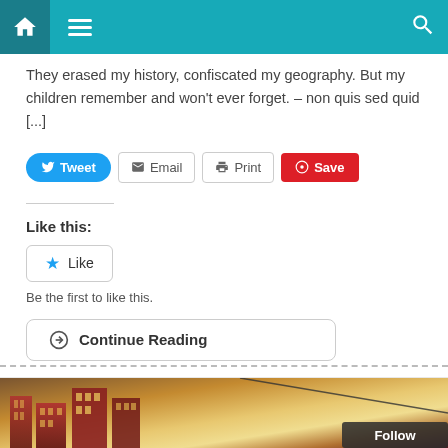[Figure (screenshot): Navigation bar with teal background, home icon, menu (hamburger) icon, and search icon]
They erased my history, confiscated my geography. But my children remember and won't ever forget. – non quis sed quid [...]
[Figure (screenshot): Share buttons: Tweet (blue pill), Email (outline), Print (outline), Save (red)]
Like this:
[Figure (screenshot): Like button with star icon]
Be the first to like this.
[Figure (screenshot): Continue Reading button with circle-arrow icon]
[Figure (photo): Stylized photo of city skyline with red/orange tones, tall buildings, dramatic sky. Follow badge in bottom right corner.]